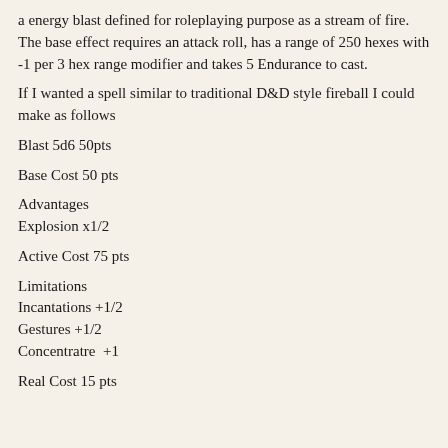a energy blast defined for roleplaying purpose as a stream of fire. The base effect requires an attack roll, has a range of 250 hexes with -1 per 3 hex range modifier and takes 5 Endurance to cast.
If I wanted a spell similar to traditional D&D style fireball I could make as follows
Blast 5d6 50pts
Base Cost 50 pts
Advantages
Explosion x1/2
Active Cost 75 pts
Limitations
Incantations +1/2
Gestures +1/2
Concentratre  +1
Real Cost 15 pts